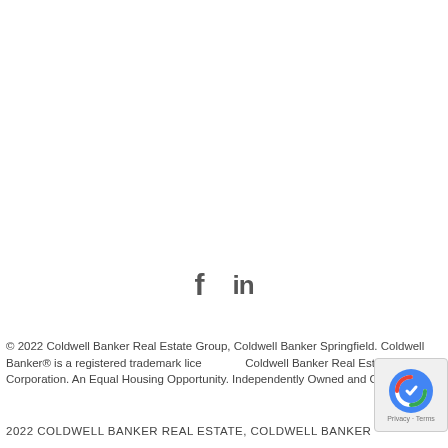[Figure (infographic): Social media icons: Facebook (f) and LinkedIn (in) displayed as large gray text symbols]
© 2022 Coldwell Banker Real Estate Group, Coldwell Banker Springfield. Coldwell Banker® is a registered trademark licensed by Coldwell Banker Real Estate Corporation. An Equal Housing Opportunity. Independently Owned and Operated.
2022 COLDWELL BANKER REAL ESTATE, COLDWELL BANKER